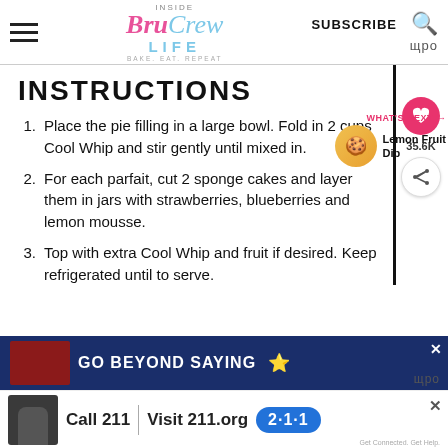Inside Bru Crew Life — BAKE. EAT. REPEAT. | SUBSCRIBE | [Search]
INSTRUCTIONS
1. Place the pie filling in a large bowl. Fold in 2 cups Cool Whip and stir gently until mixed in.
2. For each parfait, cut 2 sponge cakes and layer them in jars with strawberries, blueberries and lemon mousse.
3. Top with extra Cool Whip and fruit if desired. Keep refrigerated until to serve.
[Figure (other): Social share sidebar: heart/like button with 35.6K count, share button]
[Figure (other): What's Next panel: Lemon Fruit Dip thumbnail with label]
[Figure (other): Advertisement banner 1: GO BEYOND SAYING with American flag motif]
[Figure (other): Advertisement banner 2: Call 211 | Visit 211.org 2-1-1 with person on phone image]